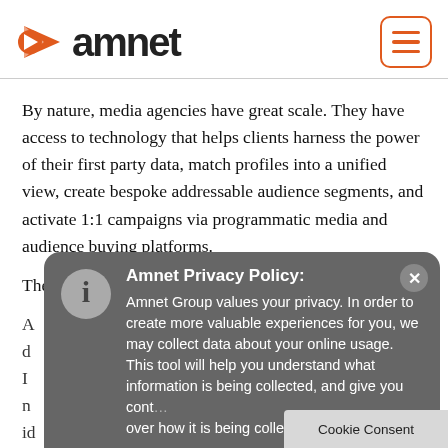[Figure (logo): Amnet logo with orange arrow/play icon and bold black 'amnet' text]
[Figure (other): Orange hamburger menu button with three horizontal lines in rounded square border]
By nature, media agencies have great scale. They have access to technology that helps clients harness the power of their first party data, match profiles into a unified view, create bespoke addressable audience segments, and activate 1:1 campaigns via programmatic media and audience buying platforms.
The challenge now is stitching together all that data. In
Amnet Privacy Policy:
Amnet Group values your privacy. In order to create more valuable experiences for you, we may collect data about your online usage. This tool will help you understand what information is being collected, and give you control over how it is being collected and
Cookie Consent